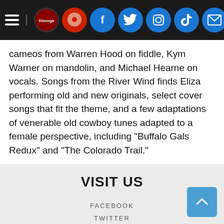Navigation bar with hamburger menu, Discogs, Bandcamp, Facebook, Twitter, Instagram, TikTok, Email icons
cameos from Warren Hood on fiddle, Kym Warner on mandolin, and Michael Hearne on vocals. Songs from the River Wind finds Eliza performing old and new originals, select cover songs that fit the theme, and a few adaptations of venerable old cowboy tunes adapted to a female perspective, including "Buffalo Gals Redux" and "The Colorado Trail."
VISIT US
FACEBOOK
TWITTER
INSTAGRAM
TIKTOK
EMAIL